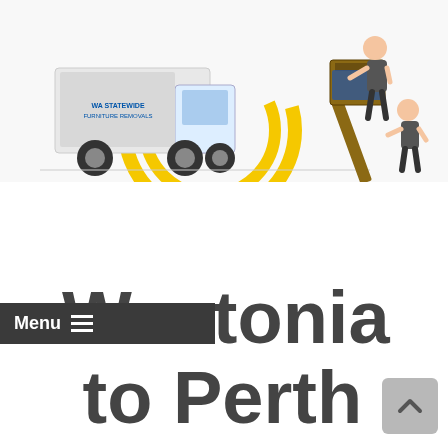[Figure (illustration): Composite banner image showing: a removalist truck with 'WA Statewide Furniture Removals' branding and yellow circular graphics on the left, two workers moving a large piece of furniture down a ramp in the center, and a color-coded map of Western Australia regions (Pilbara, Gascoyne, Mid West, Goldfields-Esperance, Wheatbelt, South West/Perth region) on the right.]
Westonia to Perth Removalists Move Your Home or Office